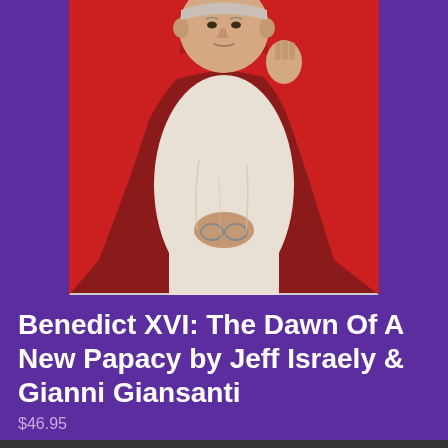[Figure (photo): Book cover photo showing a figure in white papal robes and a red cardinal cape, raising one hand in a blessing gesture, holding glasses in the other hand. The background is dark red. The image is framed with a thin border.]
Benedict XVI: The Dawn Of A New Papacy by Jeff Israely & Gianni Giansanti
$46.95